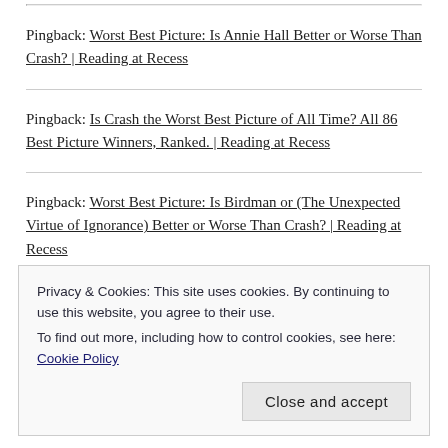Pingback: Worst Best Picture: Is Annie Hall Better or Worse Than Crash? | Reading at Recess
Pingback: Is Crash the Worst Best Picture of All Time? All 86 Best Picture Winners, Ranked. | Reading at Recess
Pingback: Worst Best Picture: Is Birdman or (The Unexpected Virtue of Ignorance) Better or Worse Than Crash? | Reading at Recess
Privacy & Cookies: This site uses cookies. By continuing to use this website, you agree to their use.
To find out more, including how to control cookies, see here: Cookie Policy